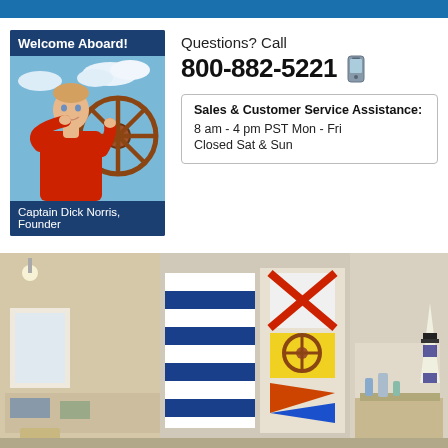East India Company
[Figure (photo): Photo of Captain Dick Norris, Founder, at a ship's wheel outdoors with blue sky background, with 'Welcome Aboard!' header and blue background caption]
Questions? Call
800-882-5221
| Sales & Customer Service Assistance: |
| --- |
| 8 am - 4 pm PST Mon - Fri |
| Closed Sat & Sun |
[Figure (photo): Interior photo of a nautical gift store showing naval signal flags, ship models, lighthouse decorations, and maritime merchandise on display]